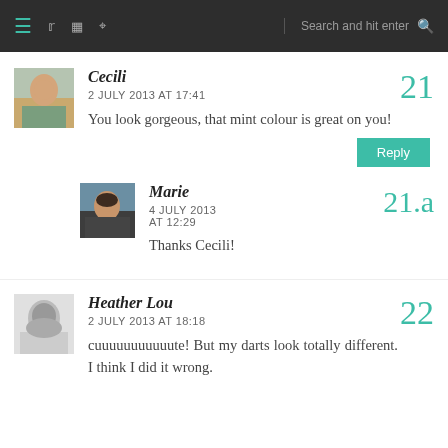Navigation bar with hamburger menu, social icons (Twitter, Instagram, Pinterest), search field
Cecili — 2 JULY 2013 AT 17:41 — You look gorgeous, that mint colour is great on you! — comment #21
Marie — 4 JULY 2013 AT 12:29 — Thanks Cecili! — comment #21.a
Heather Lou — 2 JULY 2013 AT 18:18 — cuuuuuuuuuuute! But my darts look totally different. I think I did it wrong. — comment #22